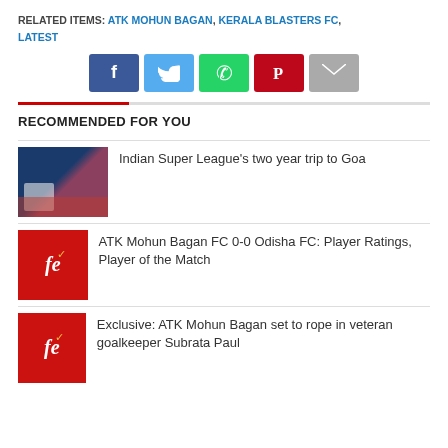RELATED ITEMS:  ATK MOHUN BAGAN,  KERALA BLASTERS FC,  LATEST
[Figure (infographic): Row of social media share buttons: Facebook (blue), Twitter (light blue), WhatsApp (green), Pinterest (red), Email (grey)]
RECOMMENDED FOR YOU
[Figure (photo): Soccer match photo showing players in blue and red jerseys on a field]
Indian Super League's two year trip to Goa
[Figure (logo): Red background with white italic 'fe' text and yellow checkmark logo]
ATK Mohun Bagan FC 0-0 Odisha FC: Player Ratings, Player of the Match
[Figure (logo): Red background with white italic 'fe' text and yellow checkmark logo]
Exclusive: ATK Mohun Bagan set to rope in veteran goalkeeper Subrata Paul